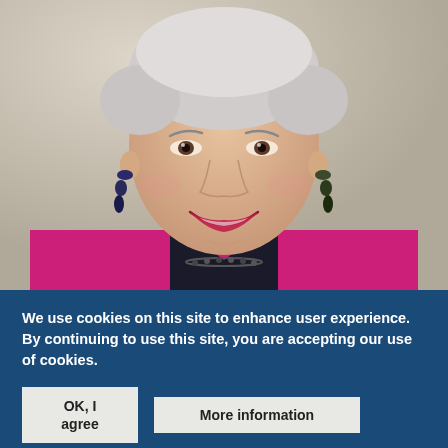[Figure (photo): Portrait photo of an older woman with short white/gray hair, smiling, wearing a bright pink/magenta blazer with a dark collar/lapel, dark earrings, and a beaded necklace. Light colored background.]
We use cookies on this site to enhance user experience. By continuing to use this site, you are accepting our use of cookies.
OK, I agree
More information